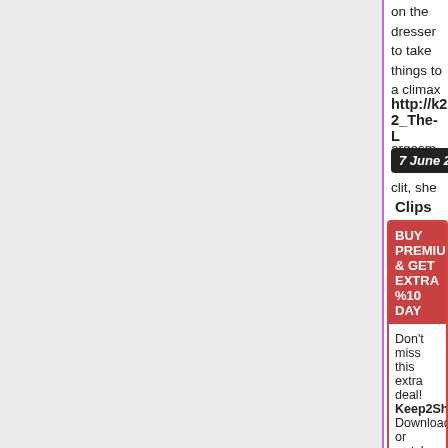on the dresser to take things to a climax and, after squeezing one last orgasm from her clit, she sucks on it again. Pornstars: Bree Haze
http://k2s.cc/file/172f56d269f3e/Filled-2_The-L
7 June 2016 | 6 years ago | 0 views
Clips
BUY PREMIUM & GET EXTRA %10 DAY
Don't miss this extra deal! Keep2Shar Download or watch with turbo speed !
30 day membership ($21.95) mom
120 day membership ($17.32) mo
365 day membership ($11.75) mo
Buy Premium PRO
[Figure (photo): Adult content advertisement banner with logo and thumbnail images]